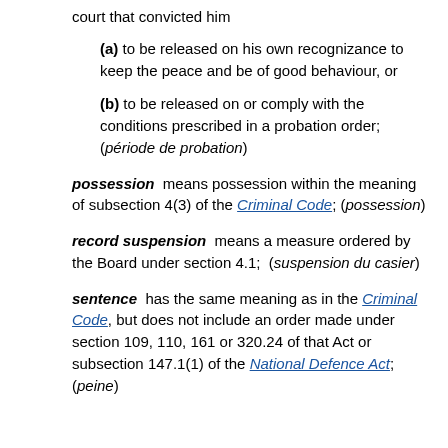court that convicted him
(a) to be released on his own recognizance to keep the peace and be of good behaviour, or
(b) to be released on or comply with the conditions prescribed in a probation order; (période de probation)
possession means possession within the meaning of subsection 4(3) of the Criminal Code; (possession)
record suspension means a measure ordered by the Board under section 4.1; (suspension du casier)
sentence has the same meaning as in the Criminal Code, but does not include an order made under section 109, 110, 161 or 320.24 of that Act or subsection 147.1(1) of the National Defence Act; (peine)